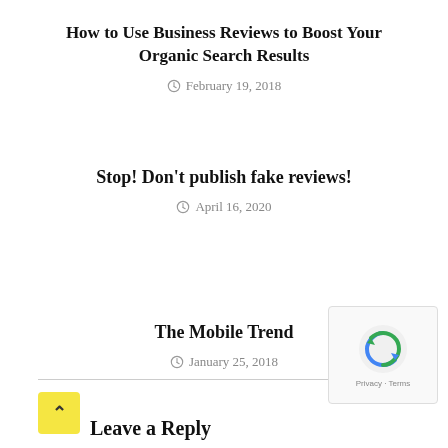How to Use Business Reviews to Boost Your Organic Search Results
February 19, 2018
Stop! Don't publish fake reviews!
April 16, 2020
The Mobile Trend
January 25, 2018
Leave a Reply